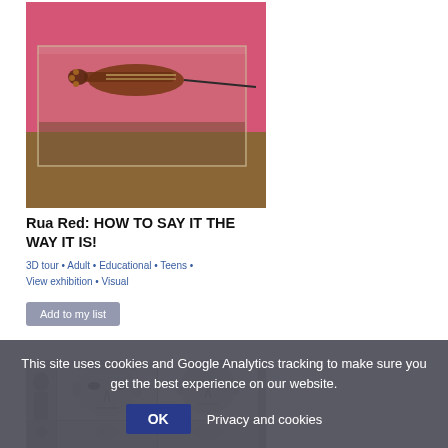[Figure (photo): Photo of a violin or similar instrument displayed in a clear acrylic/glass box with a pink/magenta background, mounted on a brown base]
Rua Red: HOW TO SAY IT THE WAY IT IS!
3D tour • Adult • Educational • Teens • View exhibition • Visual
Add to my list
[Figure (photo): Black and white photo grid showing mugshot-style portraits of faces]
This site uses cookies and Google Analytics tracking to make sure you get the best experience on our website.
OK
Privacy and cookies